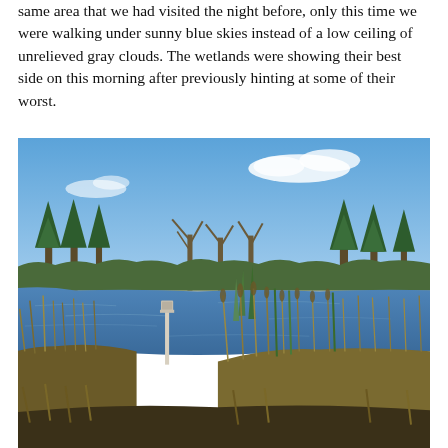same area that we had visited the night before, only this time we were walking under sunny blue skies instead of a low ceiling of unrelieved gray clouds. The wetlands were showing their best side on this morning after previously hinting at some of their worst.
[Figure (photo): Photograph of a wetland scene under a sunny blue sky with scattered white clouds. In the foreground are tall brown and green marsh reeds and grasses. A white monitoring post or bird box on a pole stands in the water amid the reeds. Behind the reeds is an open body of blue water reflecting the sky. In the background is a treeline of mixed evergreen and bare deciduous trees.]